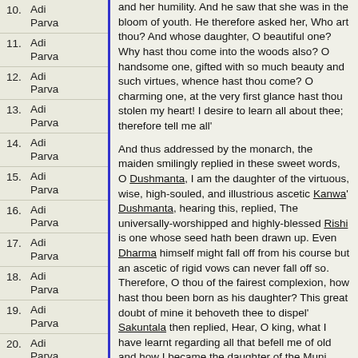10. Adi Parva
11. Adi Parva
12. Adi Parva
13. Adi Parva
14. Adi Parva
15. Adi Parva
16. Adi Parva
17. Adi Parva
18. Adi Parva
19. Adi Parva
20. Adi Parva
21. Adi Parva
22. Adi
and her humility. And he saw that she was in the bloom of youth. He therefore asked her, Who art thou? And whose daughter, O beautiful one? Why hast thou come into the woods also? O handsome one, gifted with so much beauty and such virtues, whence hast thou come? O charming one, at the very first glance hast thou stolen my heart! I desire to learn all about thee; therefore tell me all'

And thus addressed by the monarch, the maiden smilingly replied in these sweet words, O Dushmanta, I am the daughter of the virtuous, wise, high-souled, and illustrious ascetic Kanwa' Dushmanta, hearing this, replied, The universally-worshipped and highly-blessed Rishi is one whose seed hath been drawn up. Even Dharma himself might fall off from his course but an ascetic of rigid vows can never fall off so. Therefore, O thou of the fairest complexion, how hast thou been born as his daughter? This great doubt of mine it behoveth thee to dispel' Sakuntala then replied, Hear, O king, what I have learnt regarding all that befell me of old and how I became the daughter of the Muni. Once on a time, a Rishi came here and asked about my birth. All that the illustrious one Kanwa told him, hear now from me, O king! My father Kanwa, in answer to that Rishi's enquiries, said, Viswamitra, of old, having been engaged in the austerest penances alarmed Indra, the chief of the celestials, who thought that the mighty ascetic of blazing energy would, by his penances, hurl him down from his high seat in heaven' Indra, thus alarmed,